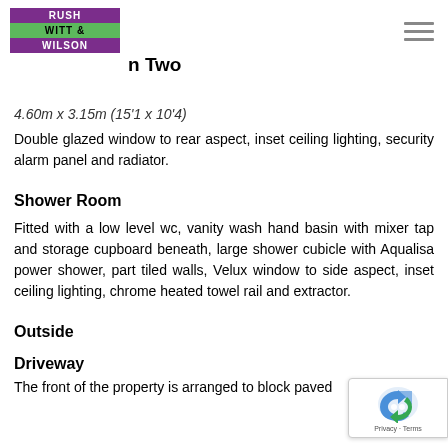[Figure (logo): Rush Witt & Wilson estate agency logo with purple and green blocks]
n Two
4.60m x 3.15m (15'1 x 10'4)
Double glazed window to rear aspect, inset ceiling lighting, security alarm panel and radiator.
Shower Room
Fitted with a low level wc, vanity wash hand basin with mixer tap and storage cupboard beneath, large shower cubicle with Aqualisa power shower, part tiled walls, Velux window to side aspect, inset ceiling lighting, chrome heated towel rail and extractor.
Outside
Driveway
The front of the property is arranged to block paved...
[Figure (other): reCAPTCHA privacy badge]